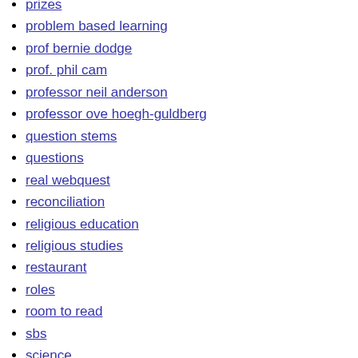prizes
problem based learning
prof bernie dodge
prof. phil cam
professor neil anderson
professor ove hoegh-guldberg
question stems
questions
real webquest
reconciliation
religious education
religious studies
restaurant
roles
room to read
sbs
science
seahorses
shortcut webquest authoring tool
short-cut webquest authoring tool
sir ken robinson
skills
sorry day
southern bluefin tuna
spooks